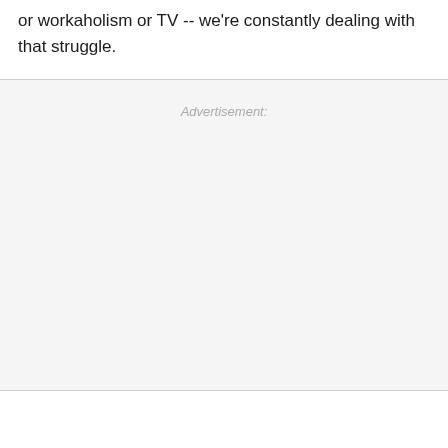or workaholism or TV -- we're constantly dealing with that struggle.
Advertisement: